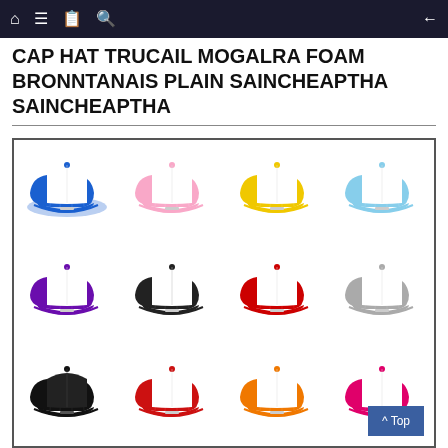Navigation bar with home, menu, book, search icons and back arrow
CAP HAT TRUCAIL MOGALRA FOAM BRONNTANAIS PLAIN SAINCHEAPTHA SAINCHEAPTHA
[Figure (photo): Grid of 12 trucker-style foam caps in various color combinations: blue/white, pink/white, yellow/white, light-blue/white, purple/white, black/white, red/white, gray/white, black solid, red/white, orange/white, pink/white. Arranged in 3 rows of 4.]